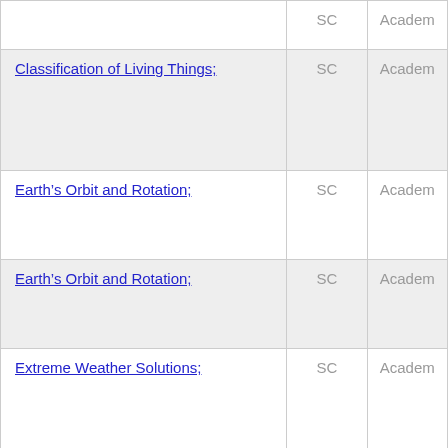| Course Name | SC | Academ |
| --- | --- | --- |
| [partial row top] | SC | Academ |
| Classification of Living Things; | SC | Academ |
| Earth's Orbit and Rotation; | SC | Academ |
| Earth's Orbit and Rotation; | SC | Academ |
| Extreme Weather Solutions; | SC | Academ |
| [partial row bottom - Information Transfer...] | SC | Academ |